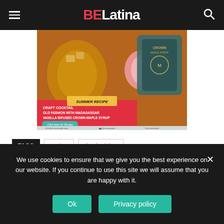BE Latina
[Figure (photo): Advertisement image showing Crown Maple Syrup summer recipe craft cocktail old fashion with Madagascar vanilla infused Crown Maple Syrup]
TAGS  recipe  thanksgiving
We use cookies to ensure that we give you the best experience on our website. If you continue to use this site we will assume that you are happy with it.
Ok  Privacy policy